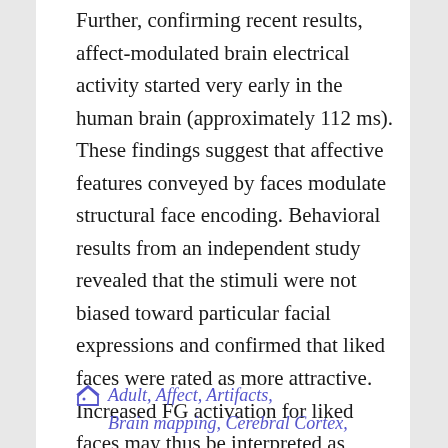Further, confirming recent results, affect-modulated brain electrical activity started very early in the human brain (approximately 112 ms). These findings suggest that affective features conveyed by faces modulate structural face encoding. Behavioral results from an independent study revealed that the stimuli were not biased toward particular facial expressions and confirmed that liked faces were rated as more attractive. Increased FG activation for liked faces may thus be interpreted as reflecting enhanced attention due to their saliency.
Adult, Affect, Artifacts, Brain mapping, Cerebral Cortex,